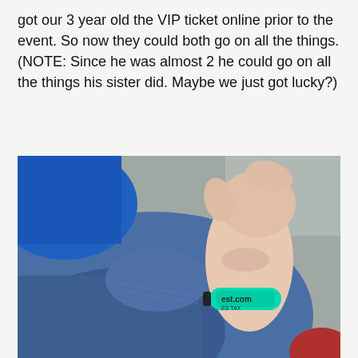got our 3 year old the VIP ticket online prior to the event. So now they could both go on all the things. (NOTE: Since he was almost 2 he could go on all the things his sister did. Maybe we just got lucky?)
[Figure (photo): Close-up photo of a child's hand and wrist wearing a teal/mint green event wristband that reads 'est.com' and 'ES TAX', held against an adult's denim-clad leg. A blue jacket sleeve is visible in the upper left.]